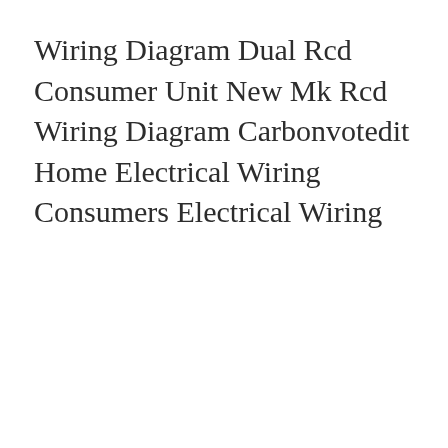Wiring Diagram Dual Rcd Consumer Unit New Mk Rcd Wiring Diagram Carbonvotedit Home Electrical Wiring Consumers Electrical Wiring